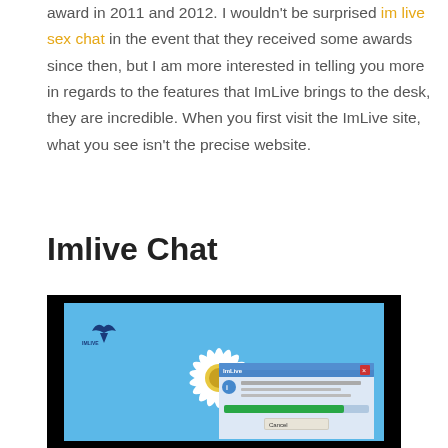award in 2011 and 2012. I wouldn't be surprised im live sex chat in the event that they received some awards since then, but I am more interested in telling you more in regards to the features that ImLive brings to the desk, they are incredible. When you first visit the ImLive site, what you see isn't the precise website.
Imlive Chat
[Figure (screenshot): Screenshot of a desktop with a daisy flower wallpaper and a chat dialog box open, showing a progress bar and green install/download button]